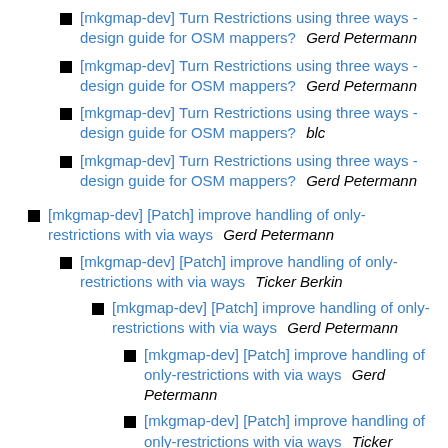[mkgmap-dev] Turn Restrictions using three ways - design guide for OSM mappers?   Gerd Petermann
[mkgmap-dev] Turn Restrictions using three ways - design guide for OSM mappers?   Gerd Petermann
[mkgmap-dev] Turn Restrictions using three ways - design guide for OSM mappers?   blc
[mkgmap-dev] Turn Restrictions using three ways - design guide for OSM mappers?   Gerd Petermann
[mkgmap-dev] [Patch] improve handling of only-restrictions with via ways   Gerd Petermann
[mkgmap-dev] [Patch] improve handling of only-restrictions with via ways   Ticker Berkin
[mkgmap-dev] [Patch] improve handling of only-restrictions with via ways   Gerd Petermann
[mkgmap-dev] [Patch] improve handling of only-restrictions with via ways   Gerd Petermann
[mkgmap-dev] [Patch] improve handling of only-restrictions with via ways   Ticker Berkin
[mkgmap-dev] [Patch] improve handling of only-restrictions with via ways   Ticker Berkin